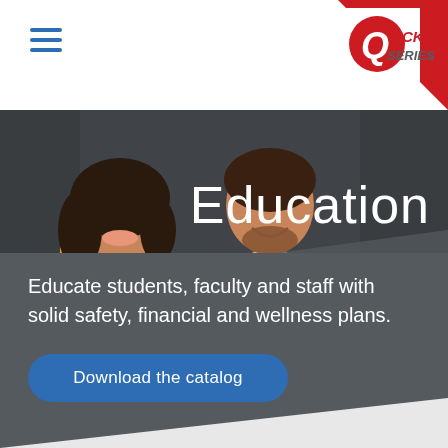[Figure (logo): Quick Series logo with red heart-shaped mark and italic text on white header background with red triangle corner]
[Figure (photo): Two smiling students (a woman with dark curly hair holding a yellow folder and a man in a plaid shirt holding a teal notebook) standing in front of a dark chalkboard wall, with the word 'Education' overlaid in white italic text on the right side]
Educate students, faculty and staff with solid safety, financial and wellness plans.
[Figure (other): Blue rounded rectangle button labeled 'Download the catalog']